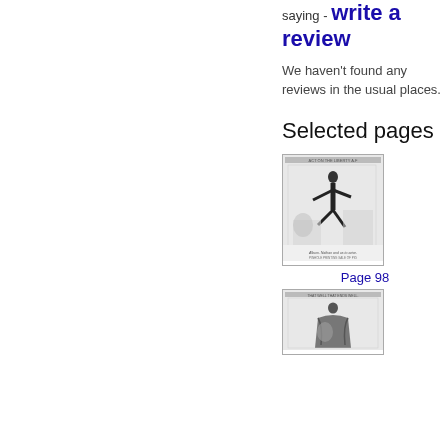saying - write a review
We haven't found any reviews in the usual places.
Selected pages
[Figure (illustration): Thumbnail of a book page showing a classical illustration of a dark human figure in dynamic pose, with caption text below]
Page 98
[Figure (illustration): Thumbnail of another book page showing a classical illustration of a seated robed figure, partially visible]